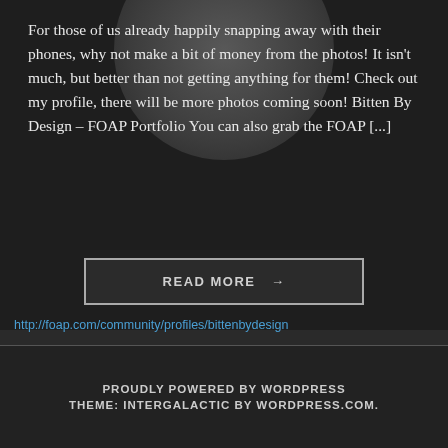For those of us already happily snapping away with their phones, why not make a bit of money from the photos! It isn't much, but better than not getting anything for them! Check out my profile, there will be more photos coming soon! Bitten By Design – FOAP Portfolio You can also grab the FOAP [...]
READ MORE →
http://foap.com/community/profiles/bittenbydesign
PROUDLY POWERED BY WORDPRESS THEME: INTERGALACTIC BY WORDPRESS.COM.